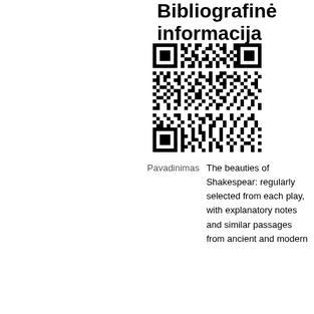Bibliografinė informacija
[Figure (other): QR code for bibliographic information]
| Pavadinimas | The beauties of Shakespear: regularly selected from each play, with explanatory notes and similar passages from ancient and modern |